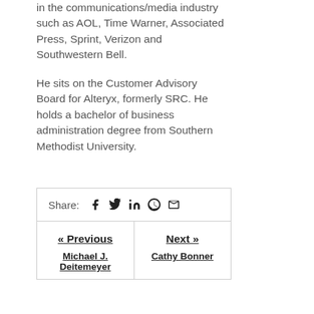in the communications/media industry such as AOL, Time Warner, Associated Press, Sprint, Verizon and Southwestern Bell.
He sits on the Customer Advisory Board for Alteryx, formerly SRC. He holds a bachelor of business administration degree from Southern Methodist University.
Share: [facebook] [twitter] [linkedin] [pinterest] [email]
« Previous | Michael J. Deitemeyer | Next » | Cathy Bonner